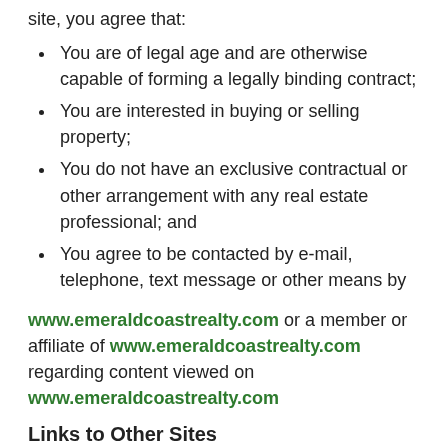site, you agree that:
You are of legal age and are otherwise capable of forming a legally binding contract;
You are interested in buying or selling property;
You do not have an exclusive contractual or other arrangement with any real estate professional; and
You agree to be contacted by e-mail, telephone, text message or other means by
www.emeraldcoastrealty.com or a member or affiliate of www.emeraldcoastrealty.com regarding content viewed on www.emeraldcoastrealty.com
Links to Other Sites
From time to time, www.emeraldcoastrealty.com may include on its site third party service providers